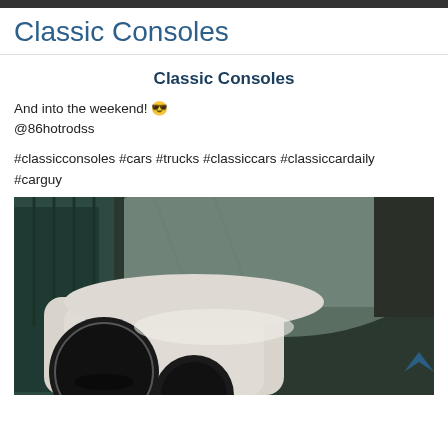Classic Consoles
Classic Consoles
And into the weekend! 😎
@86hotrodss
#classicconsoles #cars #trucks #classiccars #classiccardaily #carguy
[Figure (photo): Interior view of a classic car console showing a white/cream leather center console with black cup holders in the foreground, dark teal/navy leather seats behind, and someone wearing jeans sitting in the seat. A small blue logo is visible in the bottom right corner.]